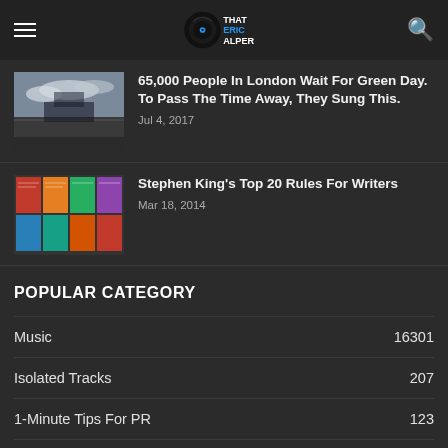That Eric Alper
[Figure (photo): Concert crowd photo thumbnail for Green Day article]
65,000 People In London Wait For Green Day. To Pass The Time Away, They Sung This.
Jul 4, 2017
[Figure (photo): Stephen King book covers collage thumbnail]
Stephen King's Top 20 Rules For Writers
Mar 18, 2014
POPULAR CATEGORY
| Category | Count |
| --- | --- |
| Music | 16301 |
| Isolated Tracks | 207 |
| 1-Minute Tips For PR | 123 |
| Music Industry Most-Loved Albums | 68 |